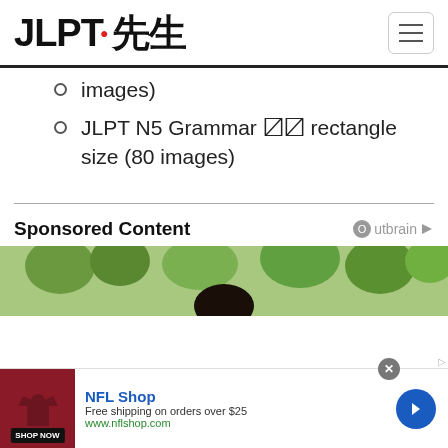JLPT 先生
images)
JLPT N5 Grammar 〼〼 rectangle size (80 images)
Sponsored Content
[Figure (photo): Outdoor scene with tropical trees and a person viewed from behind]
[Figure (photo): NFL Shop advertisement banner with dark red shirt, NFL Shop brand name, free shipping offer, shop now button]